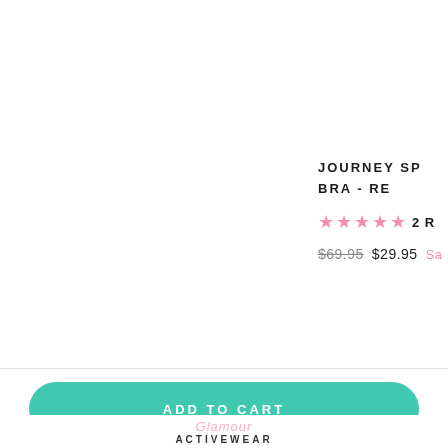JOURNEY SP... BRA - RE...
★★★★★ 2 R...
$69.95 $29.95 Sa...
ADD TO CART
[Figure (logo): Green script cursive logo with 'ACTIVEWEAR' text below in uppercase letters]
ACTIVEWEAR